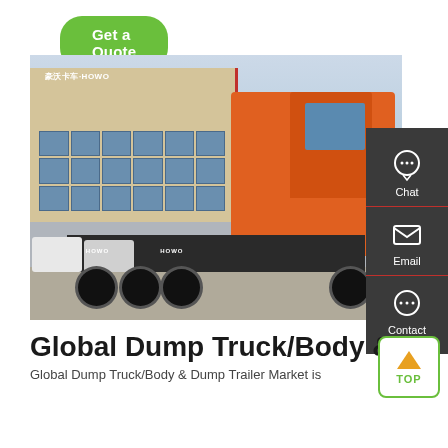[Figure (other): Green 'Get a Quote' button with rounded corners]
[Figure (photo): Photo of a HOWO orange heavy-duty truck/tractor unit parked at a dealership lot with red and blue HOWO signage on the building behind it. Multiple vehicles visible in the background.]
[Figure (other): Dark side panel with Chat, Email, and Contact icons in white on dark grey background with red dividers]
Global Dump Truck/Body &
Global Dump Truck/Body & Dump Trailer Market is
[Figure (other): Green-bordered TOP button with upward arrow icon]